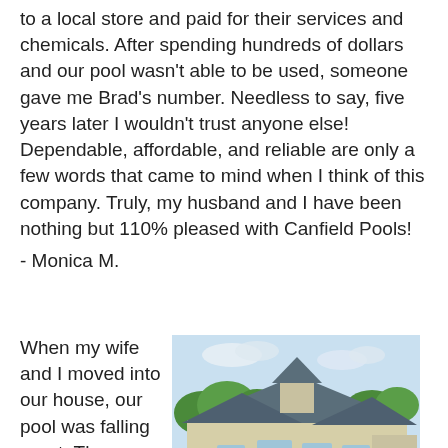to a local store and paid for their services and chemicals. After spending hundreds of dollars and our pool wasn't able to be used, someone gave me Brad's number. Needless to say, five years later I wouldn't trust anyone else! Dependable, affordable, and reliable are only a few words that came to mind when I think of this company. Truly, my husband and I have been nothing but 110% pleased with Canfield Pools!
- Monica M.
When my wife and I moved into our house, our pool was falling apart. There were
[Figure (photo): Photo of a large house with a swimming pool in the foreground, surrounded by greenery and patio furniture.]